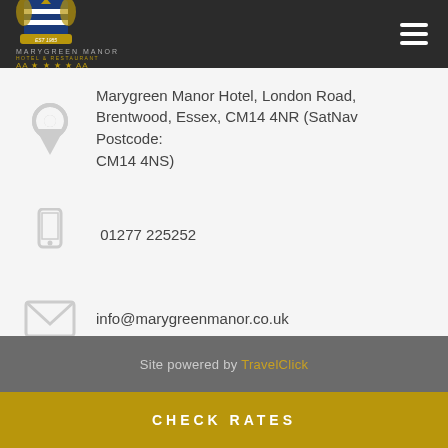[Figure (logo): Marygreen Manor Hotel & Restaurant logo with crest, AA stars rating, on dark header bar]
Marygreen Manor Hotel, London Road, Brentwood, Essex, CM14 4NR (SatNav Postcode: CM14 4NS)
01277 225252
info@marygreenmanor.co.uk
Site powered by TravelClick
CHECK RATES